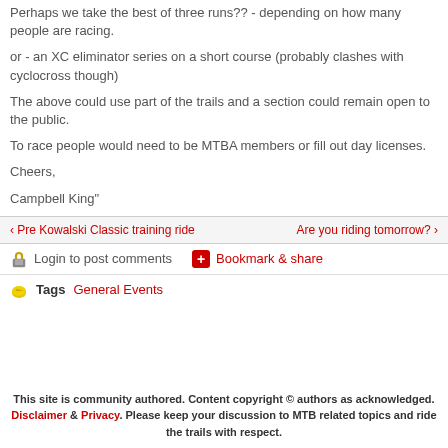Perhaps we take the best of three runs?? - depending on how many people are racing.
or - an XC eliminator series on a short course (probably clashes with cyclocross though)
The above could use part of the trails and a section could remain open to the public.
To race people would need to be MTBA members or fill out day licenses.
Cheers,
Campbell King"
‹ Pre Kowalski Classic training ride    Are you riding tomorrow? ›
Login to post comments    Bookmark & share
Tags  General Events
This site is community authored. Content copyright © authors as acknowledged. Disclaimer & Privacy. Please keep your discussion to MTB related topics and ride the trails with respect.